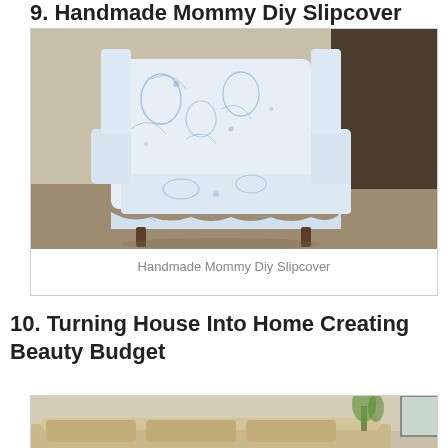9. Handmade Mommy Diy Slipcover
[Figure (photo): A wingback armchair covered in a white and blue toile floral slipcover, photographed from behind-side angle in a living room setting.]
Handmade Mommy Diy Slipcover
10. Turning House Into Home Creating Beauty Budget
[Figure (photo): Partial view of a beige sofa with a plant visible in the background, taken in a living room.]